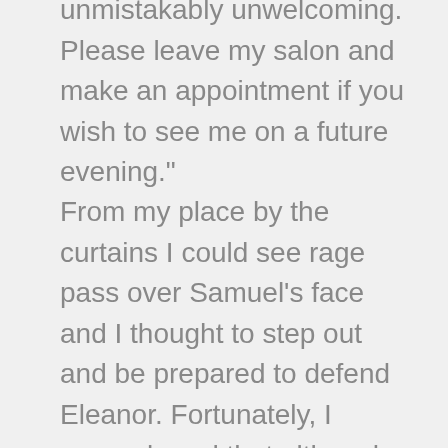unmistakably unwelcoming. Please leave my salon and make an appointment if you wish to see me on a future evening."
From my place by the curtains I could see rage pass over Samuel's face and I thought to step out and be prepared to defend Eleanor. Fortunately, I remembered that although she was diminutive in size, Eleanor was not of meager strength herself. Additionally, she had been the one to bring Samuel into our